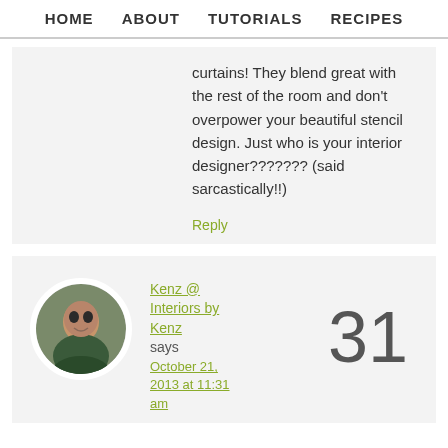HOME   ABOUT   TUTORIALS   RECIPES
curtains! They blend great with the rest of the room and don't overpower your beautiful stencil design. Just who is your interior designer??????? (said sarcastically!!)
Reply
Kenz @ Interiors by Kenz says October 21, 2013 at 11:31 am
31